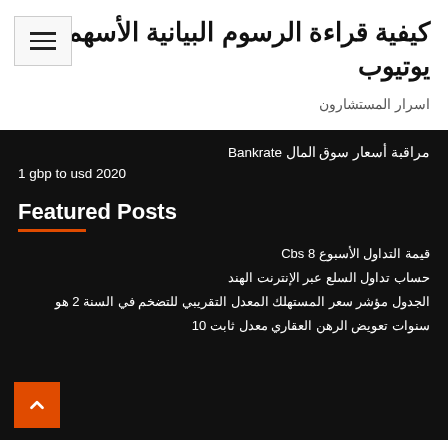كيفية قراءة الرسوم البيانية الأسهم يوتيوب
اسرار المستشارون
مراقبة أسعار سوق المال Bankrate
1 gbp to usd 2020
Featured Posts
قيمة التداول الأسبوع Cbs 8
حساب تداول السلع عبر الإنترنت الهند
الجدول مؤشر سعر المستهلك المعدل التقريبي للتضخم في السنة 2 هو
سنوات تعويض الرهن العقاري معدل ثابت 10